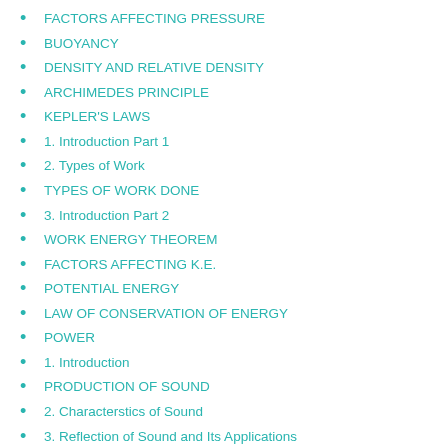FACTORS AFFECTING PRESSURE
BUOYANCY
DENSITY AND RELATIVE DENSITY
ARCHIMEDES PRINCIPLE
KEPLER'S LAWS
1. Introduction Part 1
2. Types of Work
TYPES OF WORK DONE
3. Introduction Part 2
WORK ENERGY THEOREM
FACTORS AFFECTING K.E.
POTENTIAL ENERGY
LAW OF CONSERVATION OF ENERGY
POWER
1. Introduction
PRODUCTION OF SOUND
2. Characterstics of Sound
3. Reflection of Sound and Its Applications
4. Ultrasound's and its Application